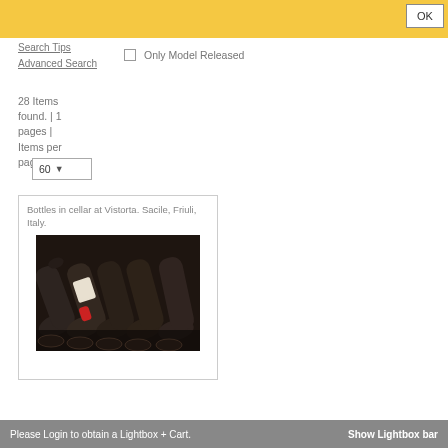[Figure (screenshot): Yellow header bar with OK button]
Search Tips
Advanced Search
Only Model Released
28 Items found. | 1 pages | Items per page
60
[Figure (photo): Bottles in cellar at Vistorta. Sacile, Friuli, Italy. Wine bottles stored horizontally in a wine cellar rack.]
Bottles in cellar at Vistorta. Sacile, Friuli, Italy.
Please Login to obtain a Lightbox + Cart.    Show Lightbox bar